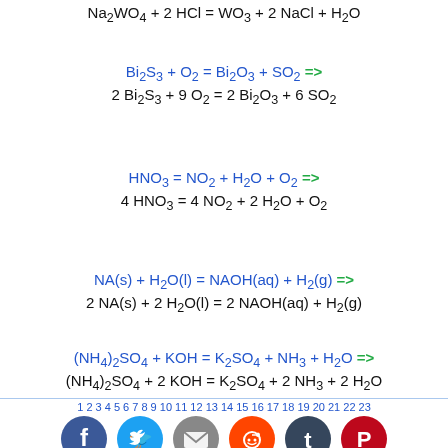1 2 3 4 5 6 7 8 9 10 11 12 13 14 15 16 17 18 19 20 21 22 23 ...
[Figure (other): Social sharing icons: Facebook, Twitter, Email, Reddit, Tumblr, Pinterest]